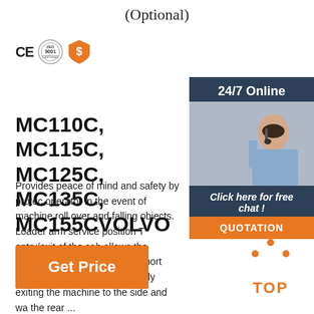(Optional)
[Figure (logo): CE mark, ISO 9001 certification logo, and orange shield/dollar badge icons]
[Figure (infographic): Sidebar with 24/7 Online label, customer service representative photo, Click here for free chat text, and orange QUOTATION button]
MC110C, MC115C, MC125C, MC135C, MC155CVOLVO ...
Provides peace of mind and safety by protecting the operator in the event of machine roll over and falling objects. Loader arm service position Tilts for entry/exit of the cab allows the operator to engage loader arm support without the aid of a second person safely exiting the machine to the side and walking to the rear ...
[Figure (infographic): Orange Get Price button]
[Figure (infographic): Orange TOP icon with dots arranged in triangle above the word TOP]